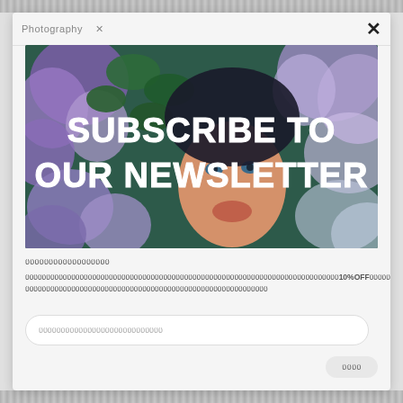Photography ×
[Figure (photo): Close-up photo of a person's face partially hidden behind purple/lilac flowers and green leaves, with bold white text overlay reading 'SUBSCRIBE TO OUR NEWSLETTER']
ニュースレター登録
ニュースレターに登録すると、最新情報やセール情報をいち早くお届けします。さらに初回購入時に10%OFFクーポンをプレゼント。その他お得な情報も随時配信しています。
メールアドレスをご入力ください
登録する